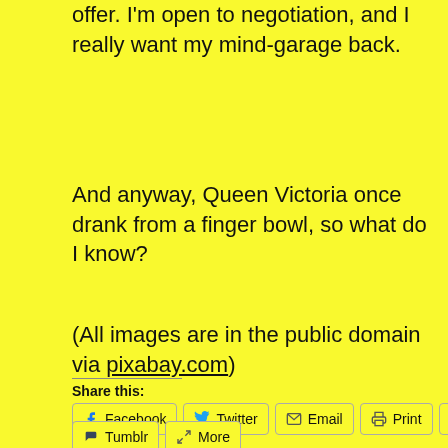offer. I'm open to negotiation, and I really want my mind-garage back.
And anyway, Queen Victoria once drank from a finger bowl, so what do I know?
(All images are in the public domain via pixabay.com)
Share this:
Facebook  Twitter  Email  Print  Reddit
Tumblr  More